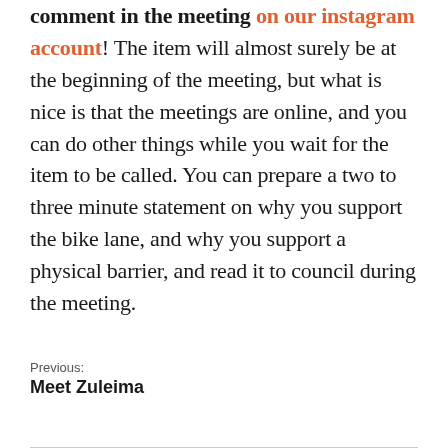comment in the meeting on our instagram account! The item will almost surely be at the beginning of the meeting, but what is nice is that the meetings are online, and you can do other things while you wait for the item to be called. You can prepare a two to three minute statement on why you support the bike lane, and why you support a physical barrier, and read it to council during the meeting.
Previous: Meet Zuleima